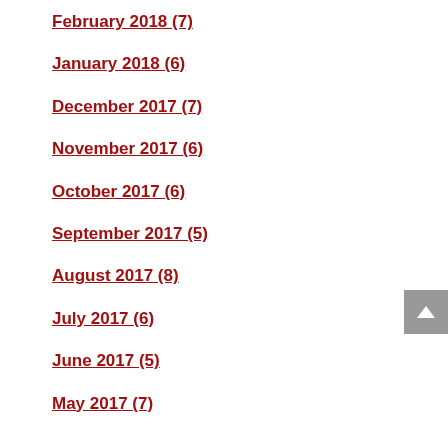February 2018 (7)
January 2018 (6)
December 2017 (7)
November 2017 (6)
October 2017 (6)
September 2017 (5)
August 2017 (8)
July 2017 (6)
June 2017 (5)
May 2017 (7)